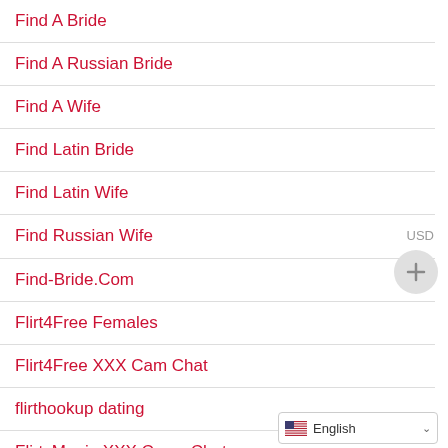Find A Bride
Find A Russian Bride
Find A Wife
Find Latin Bride
Find Latin Wife
Find Russian Wife
Find-Bride.Com
Flirt4Free Females
Flirt4Free XXX Cam Chat
flirthookup dating
FlirtyMania XXX Cams Chat
Flirtymania.Com Female